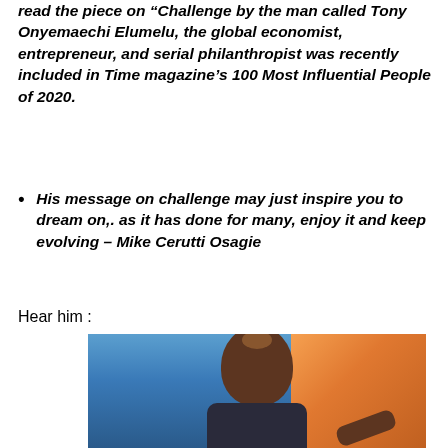read the piece on “Challenge by the man called Tony Onyemaechi Elumelu, the global economist, entrepreneur, and serial philanthropist was recently included in Time magazine’s 100 Most Influential People of 2020.
His message on challenge may just inspire you to dream on,. as it has done for many, enjoy it and keep evolving – Mike Cerutti Osagie
Hear him :
[Figure (photo): Photo of Tony Onyemaechi Elumelu, a bald Black man in a suit smiling and pointing at the camera, with a blue and warm-toned background.]